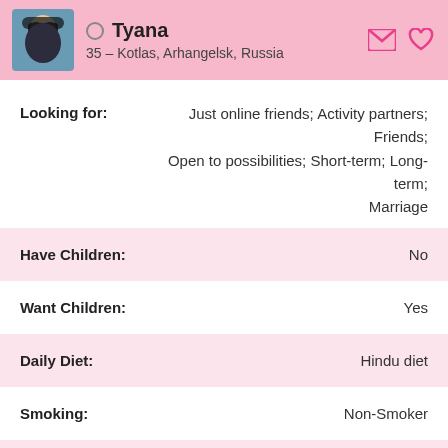Tyana — 35 – Kotlas, Arhangelsk, Russia
Looking for: Just online friends; Activity partners; Friends; Open to possibilities; Short-term; Long-term; Marriage
Have Children: No
Want Children: Yes
Daily Diet: Hindu diet
Smoking: Non-Smoker
Drinking: Non-Drinker
Education: High / secondary school